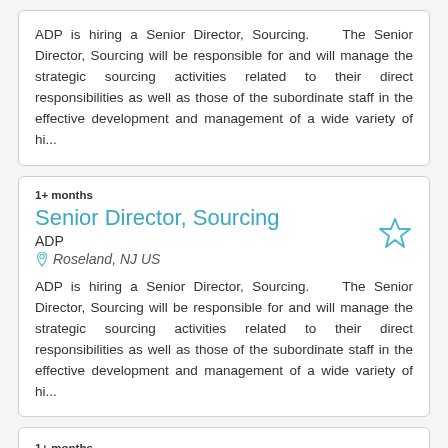ADP is hiring a Senior Director, Sourcing.    The Senior Director, Sourcing will be responsible for and will manage the strategic sourcing activities related to their direct responsibilities as well as those of the subordinate staff in the effective development and management of a wide variety of hi…
1+ months
Senior Director, Sourcing
ADP
Roseland, NJ US
ADP is hiring a Senior Director, Sourcing.    The Senior Director, Sourcing will be responsible for and will manage the strategic sourcing activities related to their direct responsibilities as well as those of the subordinate staff in the effective development and management of a wide variety of hi…
1+ months
Assembler Programmer -